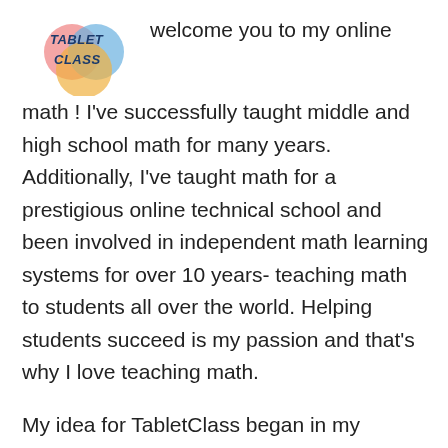[Figure (logo): TabletClass logo with overlapping colored circles (pink, blue, orange) and bold italic text TABLET CLASS]
welcome you to my online math ! I've successfully taught middle and high school math for many years. Additionally, I've taught math for a prestigious online technical school and been involved in independent math learning systems for over 10 years- teaching math to students all over the world. Helping students succeed is my passion and that's why I love teaching math.
My idea for TabletClass began in my classroom while I was earning my Master of Science in Educational Technology. I wanted to leverage my technical knowledge of the internet and computer programming to create something special